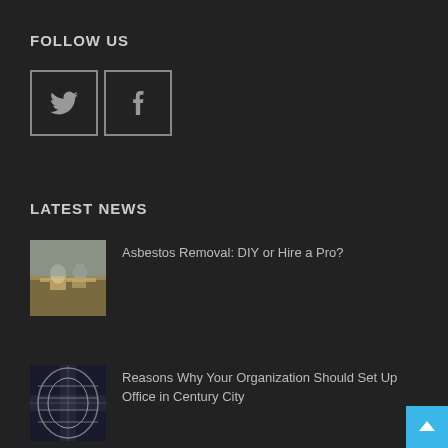FOLLOW US
[Figure (illustration): Twitter and Facebook social media icon buttons in bordered square boxes]
LATEST NEWS
[Figure (photo): Workers on a rooftop, asbestos removal context]
Asbestos Removal: DIY or Hire a Pro?
[Figure (photo): Modern office building interior with curved architecture in Century City]
Reasons Why Your Organization Should Set Up Office in Century City